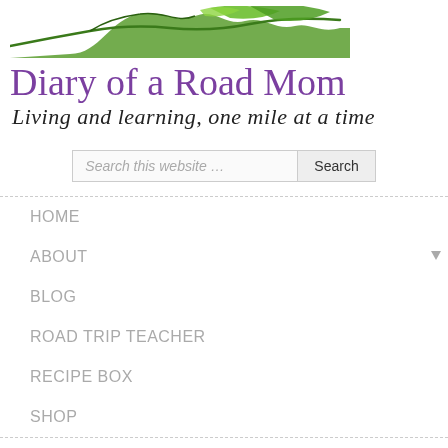[Figure (logo): Green mountain/road line art logo for Diary of a Road Mom blog]
Diary of a Road Mom
Living and learning, one mile at a time
Search this website … Search
HOME
ABOUT
BLOG
ROAD TRIP TEACHER
RECIPE BOX
SHOP
REALITY FROM THE ROAD